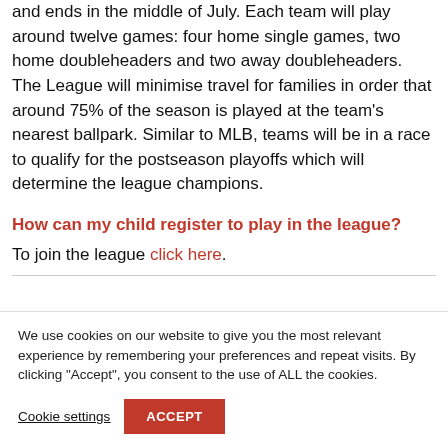and ends in the middle of July. Each team will play around twelve games: four home single games, two home doubleheaders and two away doubleheaders. The League will minimise travel for families in order that around 75% of the season is played at the team's nearest ballpark. Similar to MLB, teams will be in a race to qualify for the postseason playoffs which will determine the league champions.
How can my child register to play in the league?
To join the league click here.
We use cookies on our website to give you the most relevant experience by remembering your preferences and repeat visits. By clicking "Accept", you consent to the use of ALL the cookies.